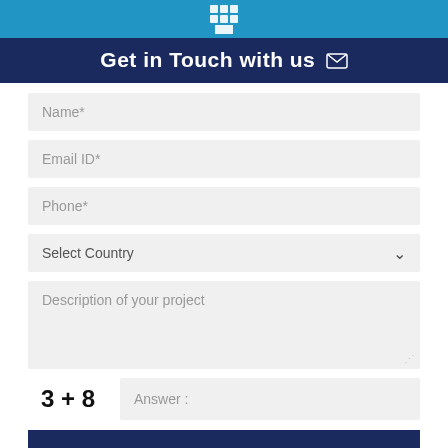[Figure (illustration): Blue header bar with white building/grid icon (3x3 grid of squares)]
Get in Touch with us ✉
Name*
Email ID*
Phone*
Select Country
Description of your project
3 + 8
Answer :
SUBMIT